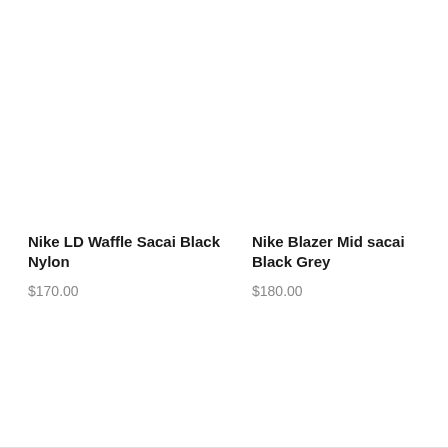Nike LD Waffle Sacai Black Nylon
$170.00
Nike Blazer Mid sacai Black Grey
$180.00